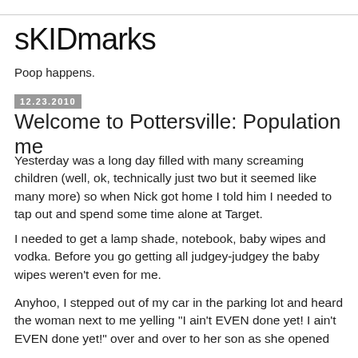sKIDmarks
Poop happens.
12.23.2010
Welcome to Pottersville: Population me
Yesterday was a long day filled with many screaming children (well, ok, technically just two but it seemed like many more) so when Nick got home I told him I needed to tap out and spend some time alone at Target.
I needed to get a lamp shade, notebook, baby wipes and vodka. Before you go getting all judgey-judgey the baby wipes weren't even for me.
Anyhoo, I stepped out of my car in the parking lot and heard the woman next to me yelling "I ain't EVEN done yet! I ain't EVEN done yet!" over and over to her son as she opened